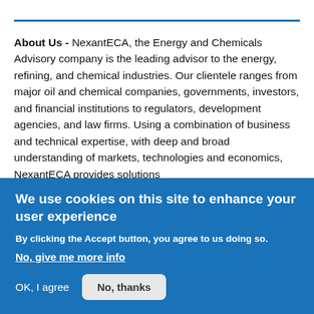About Us - NexantECA, the Energy and Chemicals Advisory company is the leading advisor to the energy, refining, and chemical industries. Our clientele ranges from major oil and chemical companies, governments, investors, and financial institutions to regulators, development agencies, and law firms. Using a combination of business and technical expertise, with deep and broad understanding of markets, technologies and economics, NexantECA provides solutions
We use cookies on this site to enhance your user experience
By clicking the Accept button, you agree to us doing so.
No, give me more info
OK, I agree
No, thanks